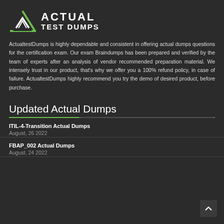[Figure (logo): ActualTestDumps logo with green triangle/chevron icon and white text ACTUAL TEST DUMPS]
ActualtestDumps is highly dependable and consistent in offering actual dumps questions for the certification exam. Our exam Braindumps has been prepared and verified by the team of experts after an analysis of vendor recommended preparation material. We intensely trust in our product, that's why we offer you a 100% refund policy, in case of failure. ActualtestDumps highly recommend you try the demo of desired product, before purchase.
Updated Actual Dumps
ITIL-4-Transition Actual Dumps
August, 26 2022
FBAP_002 Actual Dumps
August, 24 2022